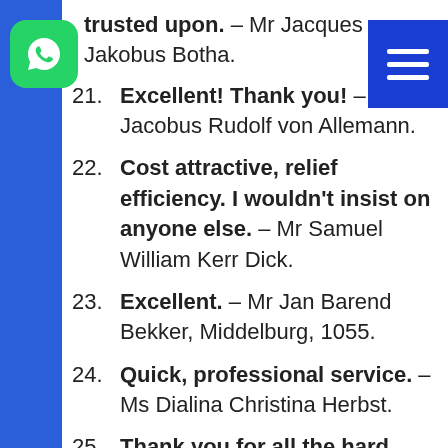trusted upon. – Mr Jacques Jakobus Botha.
21. Excellent! Thank you! – Mr Jacobus Rudolf von Allemann.
22. Cost attractive, relief efficiency. I wouldn't insist on anyone else. – Mr Samuel William Kerr Dick.
23. Excellent. – Mr Jan Barend Bekker, Middelburg, 1055.
24. Quick, professional service. – Ms Dialina Christina Herbst.
25. Thank you for all the hard work. It